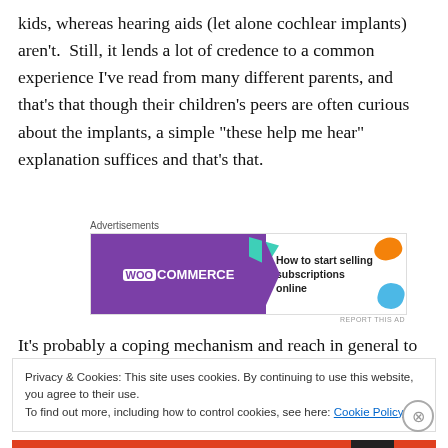kids, whereas hearing aids (let alone cochlear implants) aren't.  Still, it lends a lot of credence to a common experience I've read from many different parents, and that's that though their children's peers are often curious about the implants, a simple “these help me hear” explanation suffices and that's that.
[Figure (screenshot): WooCommerce advertisement banner: purple left side with WooCommerce logo and teal arrow shape, white right side with text 'How to start selling subscriptions online' and orange/blue leaf shapes.]
It's probably a coping mechanism and reach in general to
Privacy & Cookies: This site uses cookies. By continuing to use this website, you agree to their use.
To find out more, including how to control cookies, see here: Cookie Policy
Close and accept